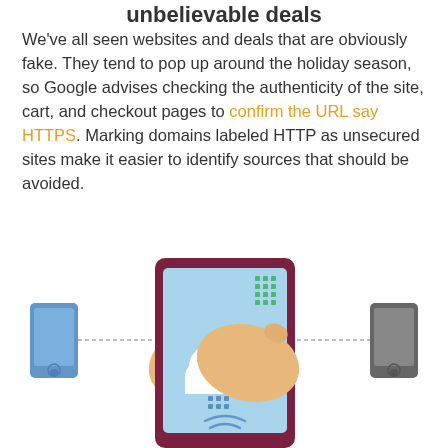unbelievable deals
We've all seen websites and deals that are obviously fake. They tend to pop up around the holiday season, so Google advises checking the authenticity of the site, cart, and checkout pages to confirm the URL say HTTPS. Marking domains labeled HTTP as unsecured sites make it easier to identify sources that should be avoided.
[Figure (illustration): Illustration of two hands holding a tablet displaying a cloud icon with WiFi/signal symbols and green dots, flanked by a blue smartphone on the left and a dark grey tablet/device on the right, all connected by dotted lines suggesting wireless connectivity.]